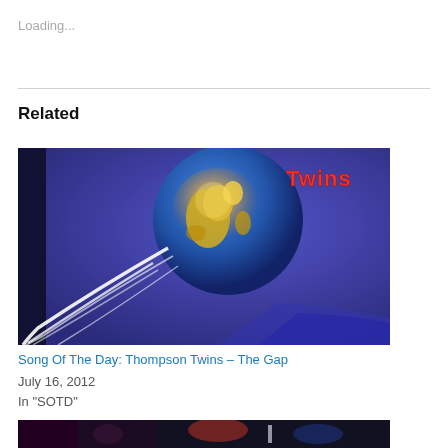Loading...
Related
[Figure (illustration): Album cover for Thompson Twins showing a blue globe with yellow-lit continents and swooping white ribbon/comet trails on a purple-blue background, with red text 'Twins' visible in upper right corner]
Song Of The Day: Thompson Twins – The Gap
July 16, 2012
In "SOTD"
[Figure (photo): Partial view of a second related post image, showing dark scene with colorful elements]